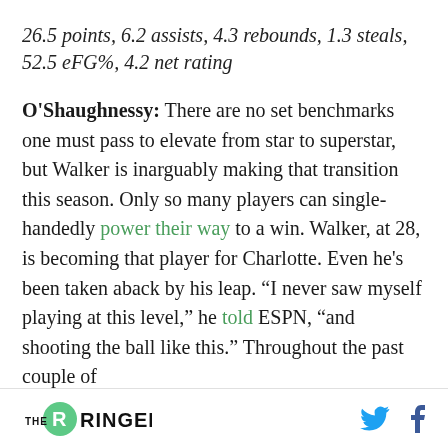26.5 points, 6.2 assists, 4.3 rebounds, 1.3 steals, 52.5 eFG%, 4.2 net rating
O'Shaughnessy: There are no set benchmarks one must pass to elevate from star to superstar, but Walker is inarguably making that transition this season. Only so many players can single-handedly power their way to a win. Walker, at 28, is becoming that player for Charlotte. Even he's been taken aback by his leap. "I never saw myself playing at this level," he told ESPN, "and shooting the ball like this." Throughout the past couple of
THE RINGER